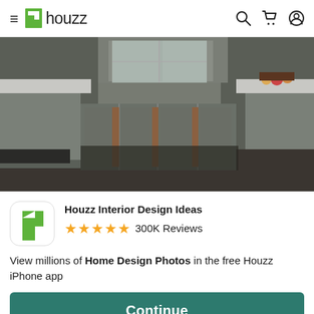houzz
[Figure (photo): Kitchen interior photo showing green-gray lower cabinets with wooden accents, dark countertops, and a window in the background. Fruits visible on countertop at right.]
Houzz Interior Design Ideas
★★★★★ 300K Reviews
View millions of Home Design Photos in the free Houzz iPhone app
Continue
Go to Mobile Site